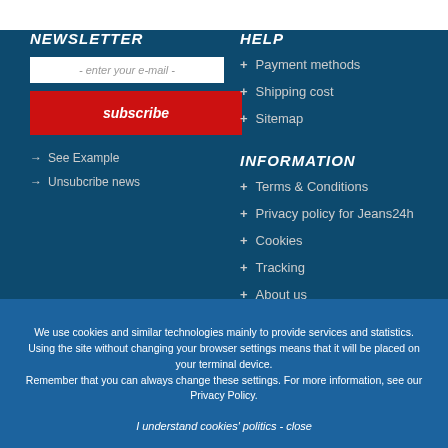NEWSLETTER
- enter your e-mail -
subscribe
→ See Example
→ Unsubcribe news
HELP
+ Payment methods
+ Shipping cost
+ Sitemap
INFORMATION
+ Terms & Conditions
+ Privacy policy for Jeans24h
+ Cookies
+ Tracking
+ About us
We use cookies and similar technologies mainly to provide services and statistics.
Using the site without changing your browser settings means that it will be placed on your terminal device.
Remember that you can always change these settings. For more information, see our Privacy Policy.
I understand cookies' politics - close